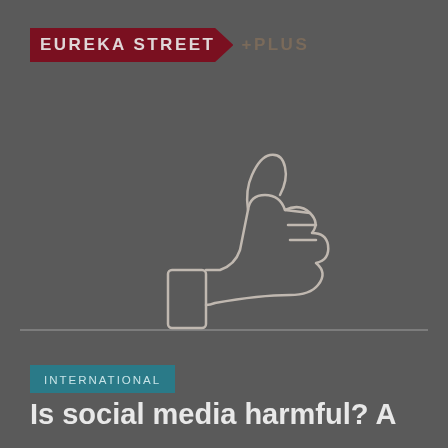EUREKA STREET PLUS
[Figure (illustration): Line drawing illustration of a thumbs up / like hand gesture on a dark background, with a horizontal line beneath the hand]
INTERNATIONAL
Is social media harmful? A